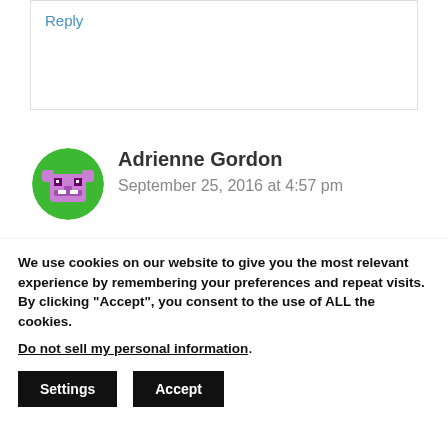Reply
[Figure (illustration): Pixel art avatar of a pink/purple character on a green circle background]
Adrienne Gordon
September 25, 2016 at 4:57 pm
I like the disney section.
We use cookies on our website to give you the most relevant experience by remembering your preferences and repeat visits. By clicking “Accept”, you consent to the use of ALL the cookies.
Do not sell my personal information.
Settings
Accept